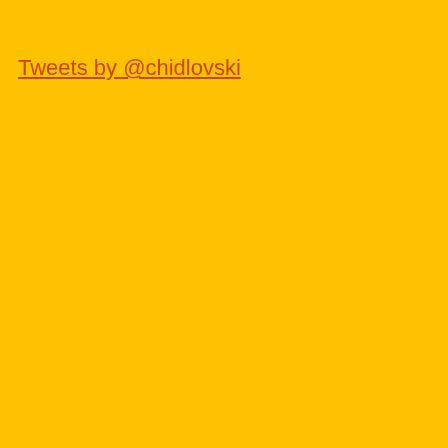Tweets by @chidlovski
| YEAR | WEIGHT |
| --- | --- |
| 1948 | Featherweight |
| 1948 | Featherweight |
| 1968 | Bantamweight |
| 1972 | Flyweight |
| 1976 | Flyweight |
WORLD CHAMPIONSHIPS
| YEAR | WEIGHT |
| --- | --- |
| 1968 | Bantamweight |
| 1970 | Flyweight |
| 1970 | Flyweight |
| 1972 | Flyweight |
| 1974 | Flyweight |
| 1976 | Flyweight |
ASIAN GAMES: MEDA...